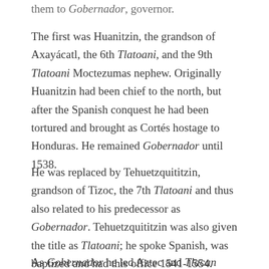them to Gobernador, governor.
The first was Huanitzin, the grandson of Axayácatl, the 6th Tlatoani, and the 9th Tlatoani Moctezumas nephew. Originally Huanitzin had been chief to the north, but after the Spanish conquest he had been tortured and brought as Cortés hostage to Honduras. He remained Gobernador until 1538.
He was replaced by Tehuetzquititzin, grandson of Tizoc, the 7th Tlatoani and thus also related to his predecessor as Gobernador. Tehuetzquititzin was also given the title as Tlatoani; he spoke Spanish, was baptized and had this office 1541-1554.
As Gobernador he led Aztec and Tlacan warriors to